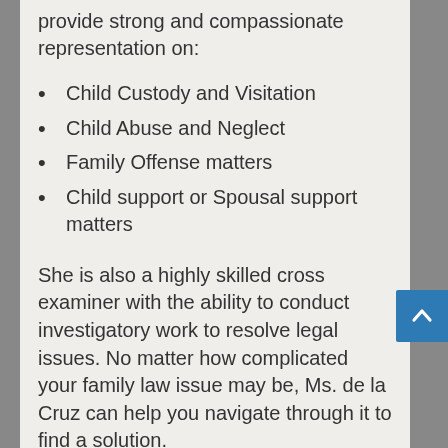provide strong and compassionate representation on:
Child Custody and Visitation
Child Abuse and Neglect
Family Offense matters
Child support or Spousal support matters
She is also a highly skilled cross examiner with the ability to conduct investigatory work to resolve legal issues. No matter how complicated your family law issue may be, Ms. de la Cruz can help you navigate through it to find a solution.